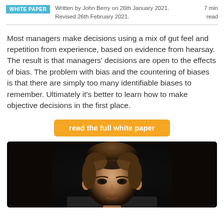WHITE PAPER  Written by John Berry on 26th January 2021.  7 min read  Revised 26th February 2021.
Most managers make decisions using a mix of gut feel and repetition from experience, based on evidence from hearsay. The result is that managers' decisions are open to the effects of bias. The problem with bias and the countering of biases is that there are simply too many identifiable biases to remember. Ultimately it's better to learn how to make objective decisions in the first place.
read the full white paper
[Figure (photo): Headshot photo of a man against a dark/black background, showing face and upper shoulders]